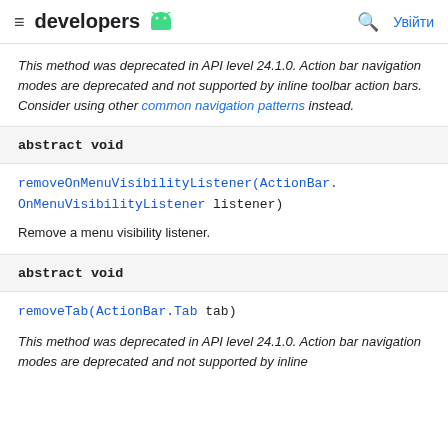developers
This method was deprecated in API level 24.1.0. Action bar navigation modes are deprecated and not supported by inline toolbar action bars. Consider using other common navigation patterns instead.
abstract void
removeOnMenuVisibilityListener(ActionBar.OnMenuVisibilityListener listener)
Remove a menu visibility listener.
abstract void
removeTab(ActionBar.Tab tab)
This method was deprecated in API level 24.1.0. Action bar navigation modes are deprecated and not supported by inline